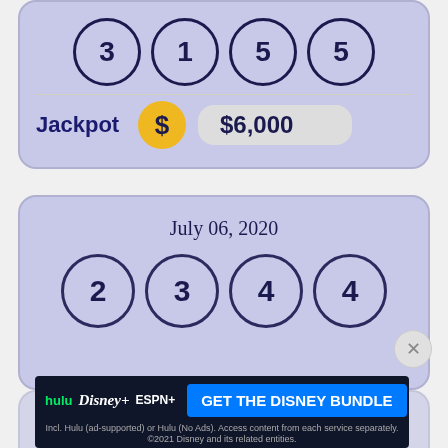[Figure (infographic): Lottery card top portion showing numbers 3, 1, 5, 5 in circles and Jackpot $6,000 with gold dollar sign badge]
July 06, 2020
[Figure (infographic): Lottery card for July 06, 2020 showing numbers 2, 3, 4, 4 in circles]
[Figure (infographic): Advertisement banner: GET THE DISNEY BUNDLE - Hulu, Disney+, ESPN+. Incl. Hulu (ad-supported) or Hulu (No Ads). Access content from each service separately. ©2021 Disney and its related entities.]